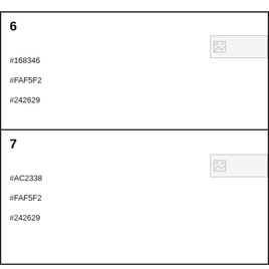6
#168346
#FAF5F2
#242629
[Figure (illustration): Small image placeholder icon with broken image symbol, green corner]
7
#AC2338
#FAF5F2
#242629
[Figure (illustration): Small image placeholder icon with broken image symbol, green corner]